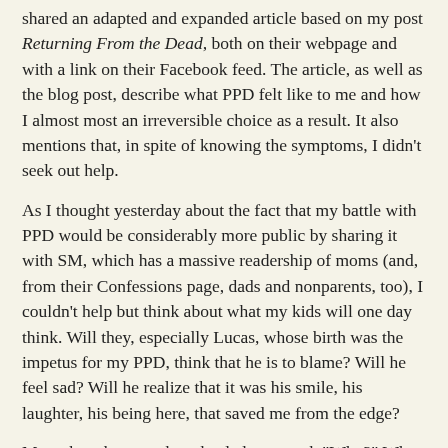shared an adapted and expanded article based on my post Returning From the Dead, both on their webpage and with a link on their Facebook feed.  The article, as well as the blog post, describe what PPD felt like to me and how I almost most an irreversible choice as a result.  It also mentions that, in spite of knowing the symptoms, I didn't seek out help.
As I thought yesterday about the fact that my battle with PPD would be considerably more public by sharing it with SM, which has a massive readership of moms (and, from their Confessions page, dads and nonparents, too), I couldn't help but think about what my kids will one day think.  Will they, especially Lucas, whose birth was the impetus for my PPD, think that he is to blame?  Will he feel sad?  Will he realize that it was his smile, his laughter, his being here, that saved me from the edge?
More than that, my thoughts led me to ask "Why?"  Why didn't I seek out help?  Why, in my moments of lucidity, when I could see that I was falling fast, didn't I reach out?
Recently, my newsfeed has been full of articles of mothers